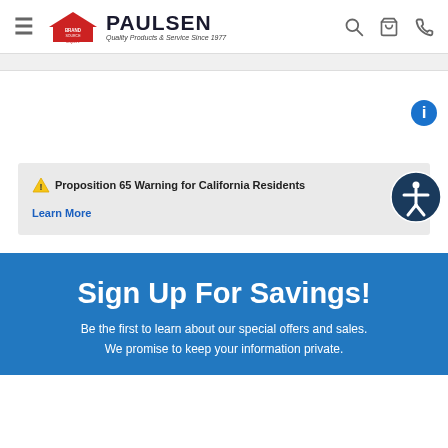Paulsen Brand Source Expert — Quality Products & Service Since 1977
⚠ Proposition 65 Warning for California Residents
Learn More
Sign Up For Savings!
Be the first to learn about our special offers and sales. We promise to keep your information private.